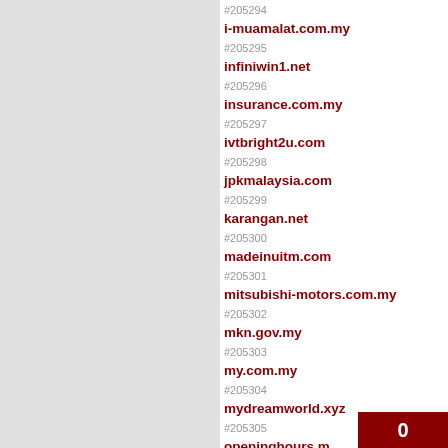#205294
#205295 i-muamalat.com.my
#205296 infiniwin1.net
#205297 insurance.com.my
#205298 ivtbright2u.com
#205299 jpkmalaysia.com
#205300 karangan.net
#205301 madeinuitm.com
#205302 mitsubishi-motors.com.my
#205303 mkn.gov.my
#205304 my.com.my
#205305 mydreamworld.xyz
#205306 openinghours.my